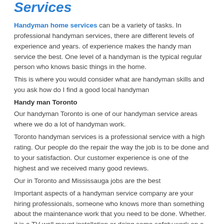Services
Handyman home services can be a variety of tasks. In professional handyman services, there are different levels of experience and years. of experience makes the handy man service the best. One level of a handyman is the typical regular person who knows basic things in the home.
This is where you would consider what are handyman skills and you ask how do I find a good local handyman
Handy man Toronto
Our handyman Toronto is one of our handyman service areas where we do a lot of handyman work.
Toronto handyman services is a professional service with a high rating. Our people do the repair the way the job is to be done and to your satisfaction. Our customer experience is one of the highest and we received many good reviews.
Our in Toronto and Mississauga jobs are the best
Important aspects of a handyman service company are your hiring professionals, someone who knows more than something about the maintenance work that you need to be done. Whether. it is a TV wall mount installation or doing some safety work on a door
This average handyman is the type of person who will have little knowledge and practice about everything and not much about anything